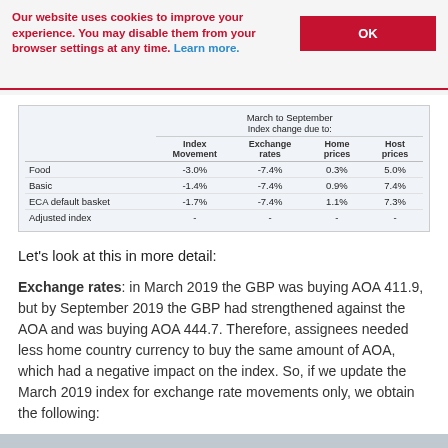Our website uses cookies to improve your experience. You may disable them from your browser settings at any time. Learn more.
|  | Index Movement | Exchange rates | Home prices | Host prices |
| --- | --- | --- | --- | --- |
| Food | -3.0% | -7.4% | 0.3% | 5.0% |
| Basic | -1.4% | -7.4% | 0.9% | 7.4% |
| ECA default basket | -1.7% | -7.4% | 1.1% | 7.3% |
| Adjusted index | - | - | - | - |
Let’s look at this in more detail:
Exchange rates: in March 2019 the GBP was buying AOA 411.9, but by September 2019 the GBP had strengthened against the AOA and was buying AOA 444.7. Therefore, assignees needed less home country currency to buy the same amount of AOA, which had a negative impact on the index. So, if we update the March 2019 index for exchange rate movements only, we obtain the following: